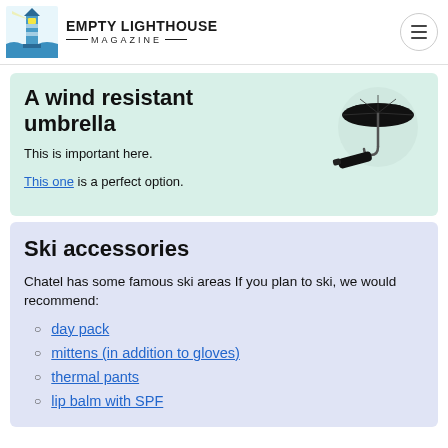EMPTY LIGHTHOUSE MAGAZINE
A wind resistant umbrella
This is important here.
This one is a perfect option.
[Figure (photo): Black compact travel umbrella, shown open and folded]
Ski accessories
Chatel has some famous ski areas If you plan to ski, we would recommend:
day pack
mittens (in addition to gloves)
thermal pants
lip balm with SPF